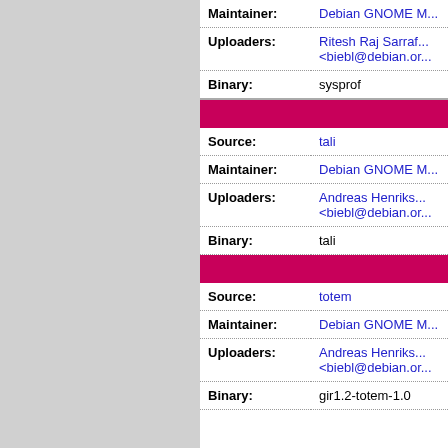| Field | Value |
| --- | --- |
| Maintainer: | Debian GNOME M... |
| Uploaders: | Ritesh Raj Sarraf...
<biebl@debian.or... |
| Binary: | sysprof |
| Field | Value |
| --- | --- |
| Source: | tali |
| Maintainer: | Debian GNOME M... |
| Uploaders: | Andreas Henriks...
<biebl@debian.or... |
| Binary: | tali |
| Field | Value |
| --- | --- |
| Source: | totem |
| Maintainer: | Debian GNOME M... |
| Uploaders: | Andreas Henriks...
<biebl@debian.or... |
| Binary: | gir1.2-totem-1.0 |